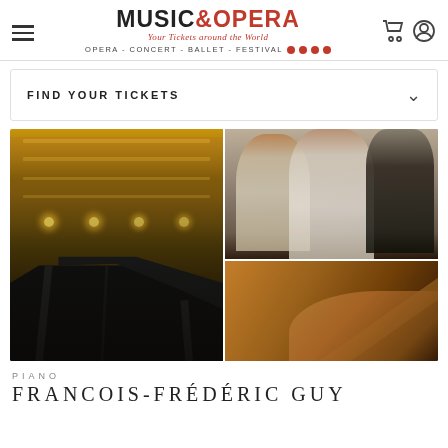MUSIC & OPERA — Your Tickets around the World — OPERA - CONCERT - BALLET - FESTIVAL
FIND YOUR TICKETS
[Figure (photo): Collage of three images: left tall image showing an ornate golden opera hall interior with balconies and a piano in the foreground; top right showing three opera performers on stage; bottom right showing a close-up of a violin being played.]
PIANO
FRANCOIS-FRÉDÉRIC GUY